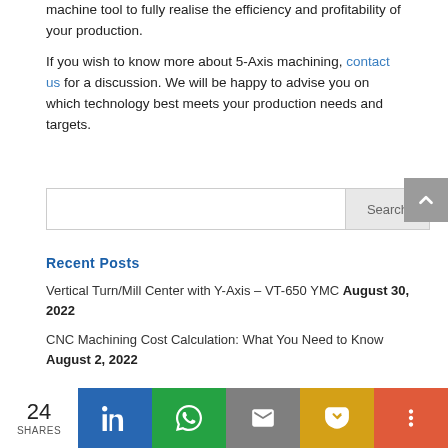machine tool to fully realise the efficiency and profitability of your production.
If you wish to know more about 5-Axis machining, contact us for a discussion. We will be happy to advise you on which technology best meets your production needs and targets.
Recent Posts
Vertical Turn/Mill Center with Y-Axis – VT-650 YMC August 30, 2022
CNC Machining Cost Calculation: What You Need to Know August 2, 2022